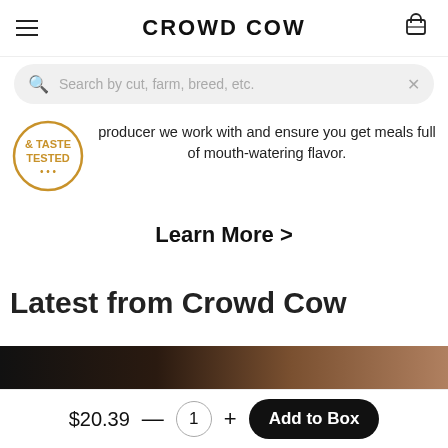CROWD COW
Search by cut, farm, breed, etc.
[Figure (logo): & TASTE TESTED circular badge in gold/brown color]
producer we work with and ensure you get meals full of mouth-watering flavor.
Learn More >
Latest from Crowd Cow
[Figure (photo): Dark food/meat image strip partially visible at bottom]
$20.39 — 1 + Add to Box